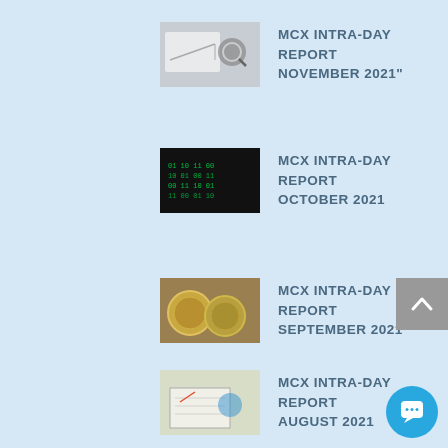MCX INTRA-DAY REPORT NOVEMBER 2021"
MCX INTRA-DAY REPORT OCTOBER 2021
MCX INTRA-DAY REPORT SEPTEMBER 2021
MCX INTRA-DAY REPORT AUGUST 2021